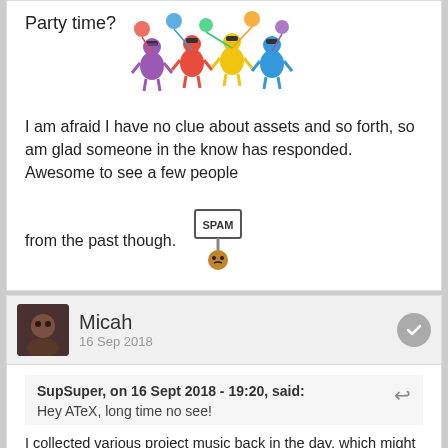Party time?
[Figure (illustration): Cartoon colorful characters with sunglasses at a party]
I am afraid I have no clue about assets and so forth, so am glad someone in the know has responded.  Awesome to see a few people from the past though.
[Figure (illustration): SPAM sign emoji holding cartoon character]
Micah
16 Sep 2018
SupSuper, on 16 Sept 2018 - 19:20, said:
Hey ATeX, long time no see!
I collected various project music back in the day, which might have what you want: https://openxcom.org...as/Xenocide.zip
If that's not enough, here's all the links in the thread micah linked if you wanna dig around the remains of Project Xenocide:
https://github.com/a...roject-Xenocide
http://xcomufo.com/xenocide/svn.zip (1gb)
http://xcomufo.com/x...onocide.com.zip (2gb)